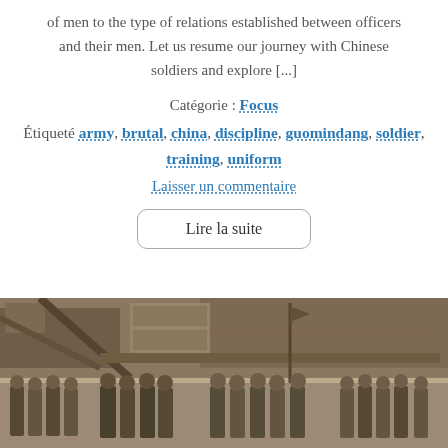of men to the type of relations established between officers and their men. Let us resume our journey with Chinese soldiers and explore [...]
Catégorie : Focus
Étiqueté army, brutal, china, discipline, guomindang, soldier, training, uniform
Laisser un commentaire
Lire la suite
[Figure (photo): Historical black and white photograph of Chinese soldiers in uniform grouped together in front of buildings with signage]